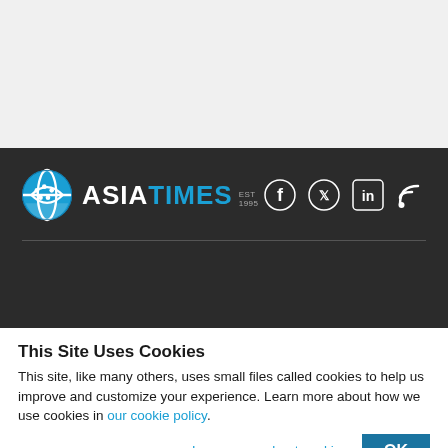[Figure (logo): Asia Times logo with globe icon, ASIA in white bold, TIMES in blue bold, EST 1995 in small gray text, on dark background with social media icons (Facebook, Twitter, LinkedIn, RSS)]
This Site Uses Cookies
This site, like many others, uses small files called cookies to help us improve and customize your experience. Learn more about how we use cookies in our cookie policy.
Learn more about cookies  OK